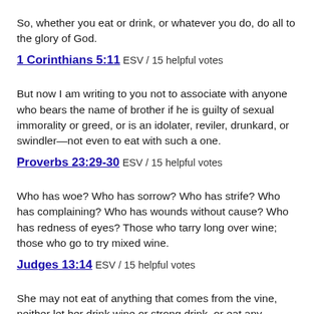So, whether you eat or drink, or whatever you do, do all to the glory of God.
1 Corinthians 5:11 ESV / 15 helpful votes
But now I am writing to you not to associate with anyone who bears the name of brother if he is guilty of sexual immorality or greed, or is an idolater, reviler, drunkard, or swindler—not even to eat with such a one.
Proverbs 23:29-30 ESV / 15 helpful votes
Who has woe? Who has sorrow? Who has strife? Who has complaining? Who has wounds without cause? Who has redness of eyes? Those who tarry long over wine; those who go to try mixed wine.
Judges 13:14 ESV / 15 helpful votes
She may not eat of anything that comes from the vine, neither let her drink wine or strong drink, or eat any